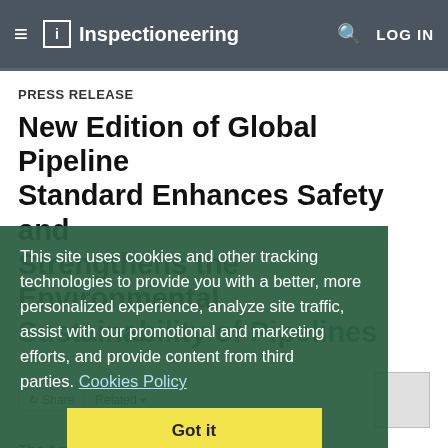Inspectioneering — LOG IN
PRESS RELEASE
New Edition of Global Pipeline Standard Enhances Safety and Strengthens the Environmental Sustainability of Pipelines
This site uses cookies and other tracking technologies to provide you with a better, more personalized experience, analyze site traffic, assist with our promotional and marketing efforts, and provide content from third parties. Cookies Policy
Got it
The American Petroleum Institute (API) has published Standard (Std) 1104, 22nd Edition, Welding of Pipelines and Related Facilities, updating an important global standard that supports industry-wide